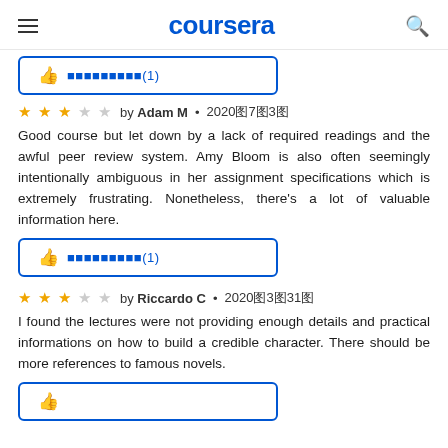coursera
[Figure (other): Helpful button with thumbs up icon and encoded text (1)]
by Adam M · 2020年7月3日
Good course but let down by a lack of required readings and the awful peer review system. Amy Bloom is also often seemingly intentionally ambiguous in her assignment specifications which is extremely frustrating. Nonetheless, there's a lot of valuable information here.
[Figure (other): Helpful button with thumbs up icon and encoded text (1)]
by Riccardo C · 2020年3月31日
I found the lectures were not providing enough details and practical informations on how to build a credible character. There should be more references to famous novels.
[Figure (other): Helpful button partial at bottom]